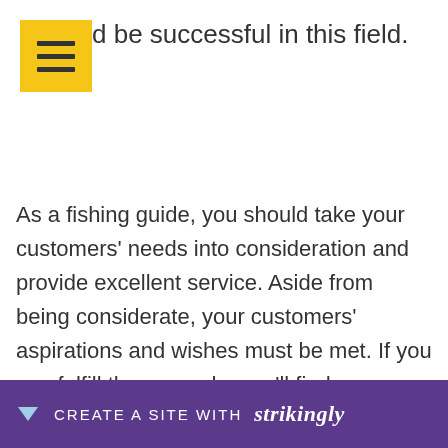[Figure (other): Yellow hamburger menu button icon with three horizontal bars]
d be successful in this field.
As a fishing guide, you should take your customers' needs into consideration and provide excellent service. Aside from being considerate, your customers' aspirations and wishes must be met. If you can fulfill these needs, you'll find many repeat customers and good referrals. Whether you're a full-time Guided fishing Lake Texoma employee or a self-employed one, your customers will always be happy with the service you provide. And could should always...
[Figure (other): Strikingly website builder promotional bar at bottom of page with text CREATE A SITE WITH strikingly]